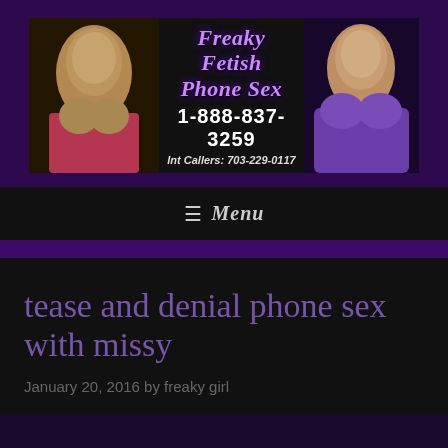[Figure (other): Website banner for Freaky Fetish Phone Sex showing two women flanking centered text with site name, phone number 1-888-837-3259 and Int Callers: 703-229-0117]
≡ Menu
tease and denial phone sex with missy
January 20, 2016 by freaky girl